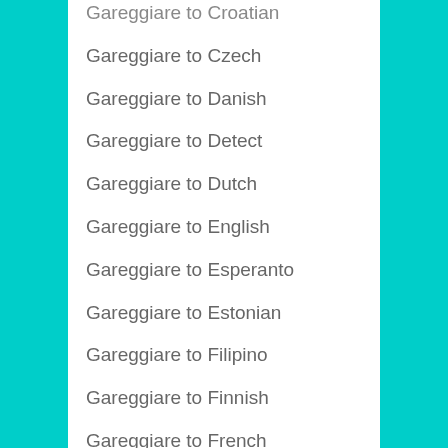Gareggiare to Croatian
Gareggiare to Czech
Gareggiare to Danish
Gareggiare to Detect
Gareggiare to Dutch
Gareggiare to English
Gareggiare to Esperanto
Gareggiare to Estonian
Gareggiare to Filipino
Gareggiare to Finnish
Gareggiare to French
Gareggiare to Frisian
Gareggiare to Galician
Gareggiare to Georgian